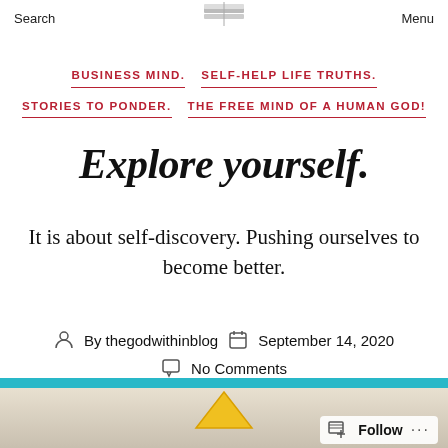Search   Menu
BUSINESS MIND.   SELF-HELP LIFE TRUTHS.   STORIES TO PONDER.   THE FREE MIND OF A HUMAN GOD!
Explore yourself.
It is about self-discovery. Pushing ourselves to become better.
By thegodwithinblog   September 14, 2020   No Comments
[Figure (photo): Bottom of page showing a landscape photo with teal/blue strip at top and a yellow chevron/arrow symbol, plus a Follow button in bottom right corner]